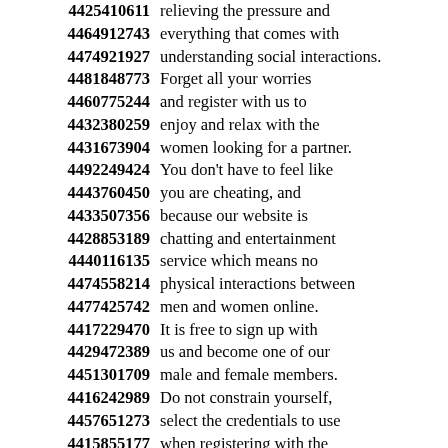4425410611 relieving the pressure and
4464912743 everything that comes with
4474921927 understanding social interactions.
4481848773 Forget all your worries
4460775244 and register with us to
4432380259 enjoy and relax with the
4431673904 women looking for a partner.
4492249424 You don't have to feel like
4443760450 you are cheating, and
4433507356 because our website is
4428853189 chatting and entertainment
4440116135 service which means no
4474558214 physical interactions between
4477425742 men and women online.
4417229470 It is free to sign up with
4429472389 us and become one of our
4451301709 male and female members.
4416242989 Do not constrain yourself,
4457651273 select the credentials to use
4415855177 when registering with the
4416492994 international dating website,
4417286269 you can use any name you like.
4465592769 You get to sit comfortably
4444834540 at your home without getting
4454964152 dressed up and enjoy the
4415346837 perks that come with it.